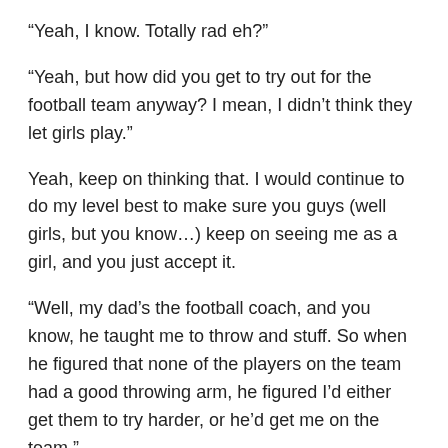“Yeah, I know. Totally rad eh?”
“Yeah, but how did you get to try out for the football team anyway? I mean, I didn’t think they let girls play.”
Yeah, keep on thinking that. I would continue to do my level best to make sure you guys (well girls, but you know…) keep on seeing me as a girl, and you just accept it.
“Well, my dad’s the football coach, and you know, he taught me to throw and stuff. So when he figured that none of the players on the team had a good throwing arm, he figured I’d either get them to try harder, or he’d get me on the team.”